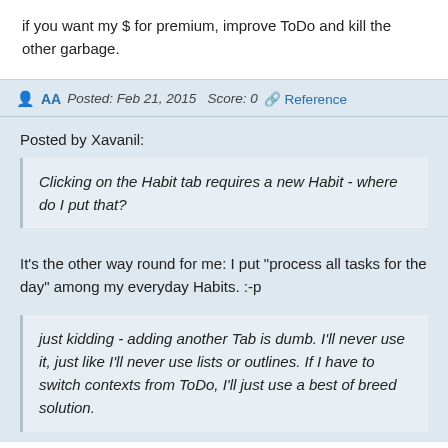if you want my $ for premium, improve ToDo and kill the other garbage.
AA  Posted: Feb 21, 2015  Score: 0  🔗 Reference
Posted by Xavanil:
Clicking on the Habit tab requires a new Habit - where do I put that?
It's the other way round for me: I put "process all tasks for the day" among my everyday Habits. :-p
just kidding - adding another Tab is dumb. I'll never use it, just like I'll never use lists or outlines. If I have to switch contexts from ToDo, I'll just use a best of breed solution.